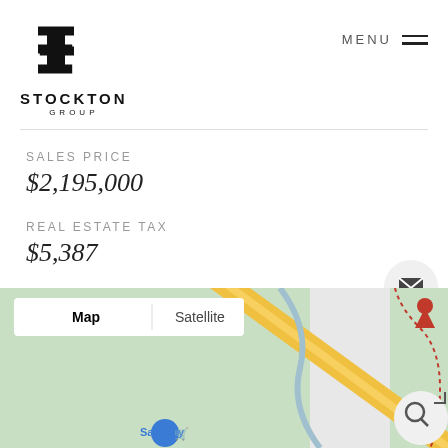[Figure (logo): Stockton Group logo with stylized S icon and text STOCKTON GROUP]
MENU
SALES PRICE
$2,195,000
REAL ESTATE TAX
$5,387
[Figure (map): Google Maps view showing satellite/map area with Safeway visible, yellow road, and a red dotted boundary line. Map toggle buttons showing Map and Satellite options.]